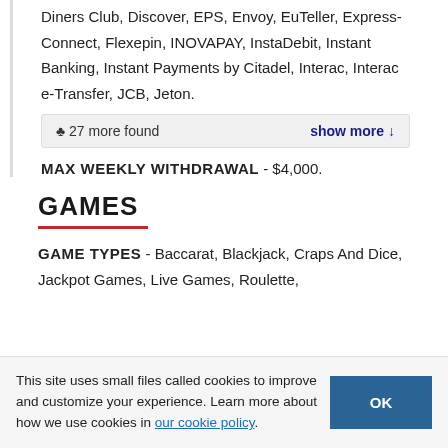Diners Club, Discover, EPS, Envoy, EuTeller, Express-Connect, Flexepin, INOVAPAY, InstaDebit, Instant Banking, Instant Payments by Citadel, Interac, Interac e-Transfer, JCB, Jeton.
♣ 27 more found   show more ↓
MAX WEEKLY WITHDRAWAL - $4,000.
GAMES
GAME TYPES - Baccarat, Blackjack, Craps And Dice, Jackpot Games, Live Games, Roulette,
This site uses small files called cookies to improve and customize your experience. Learn more about how we use cookies in our cookie policy.